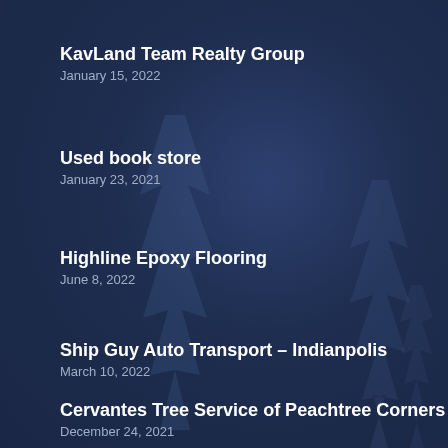KavLand Team Realty Group
January 15, 2022
Used book store
January 23, 2021
Highline Epoxy Flooring
June 8, 2022
Ship Guy Auto Transport – Indianpolis
March 10, 2022
Cervantes Tree Service of Peachtree Corners
December 24, 2021